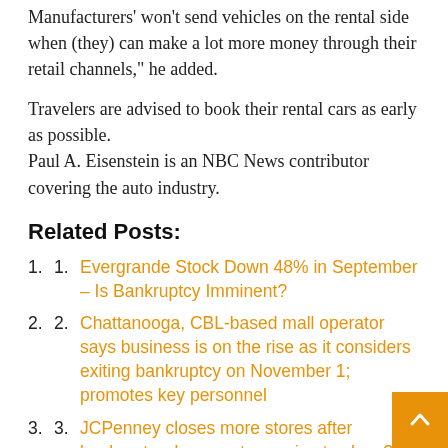Manufacturers' won't send vehicles on the rental side when (they) can make a lot more money through their retail channels," he added.
Travelers are advised to book their rental cars as early as possible.
Paul A. Eisenstein is an NBC News contributor covering the auto industry.
Related Posts:
Evergrande Stock Down 48% in September – Is Bankruptcy Imminent?
Chattanooga, CBL-based mall operator says business is on the rise as it considers exiting bankruptcy on November 1; promotes key personnel
JCPenney closes more stores after bankruptcy. Is your store going to close? See the closure list.
Nature Coast EMS Risks Bankruptcy Following Transfer of Services to County | Local News